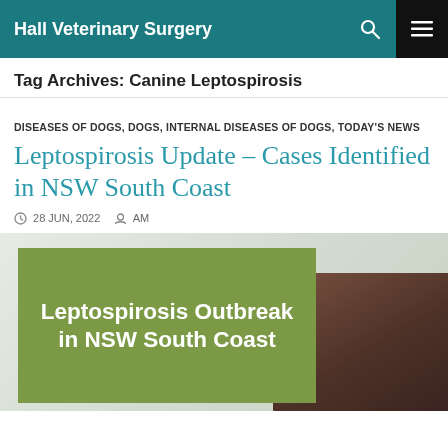Hall Veterinary Surgery
Tag Archives: Canine Leptospirosis
DISEASES OF DOGS, DOGS, INTERNAL DISEASES OF DOGS, TODAY'S NEWS
Leptospirosis Update – Cases Identified in NSW South Coast
28 JUN, 2022   AM
[Figure (photo): Article thumbnail image with olive-green overlay box reading 'Leptospirosis Outbreak in NSW South Coast' and a brown/dark dog photo on the right side]